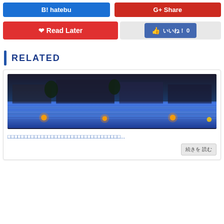[Figure (screenshot): Blue button labeled 'B! hatebu' and red button labeled 'G+ Share' side by side]
[Figure (screenshot): Red 'Read Later' button with pocket icon and a Facebook-style like button showing '0 likes']
RELATED
[Figure (photo): Night scene with illuminated blue water feature/pool with orange lights and trees in background]
□□□□□□□□□□□□□□□□□□□□□□□□□□□□□□□□□□...